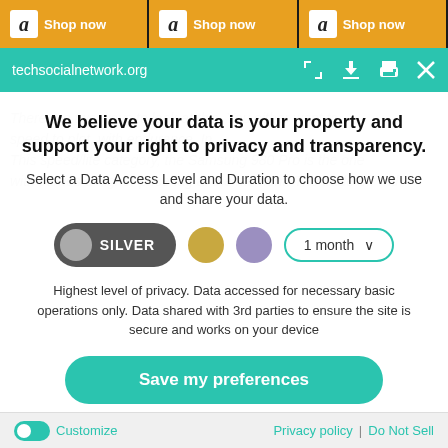[Figure (screenshot): Amazon ad banner with three 'Shop now' items on dark background]
[Figure (screenshot): Browser address bar showing techsocialnetwork.org with teal/green background and browser control icons]
We believe your data is your property and support your right to privacy and transparency.
Select a Data Access Level and Duration to choose how we use and share your data.
[Figure (infographic): Privacy level selector showing SILVER toggle selected, gold circle, purple circle, and 1 month dropdown]
Highest level of privacy. Data accessed for necessary basic operations only. Data shared with 3rd parties to ensure the site is secure and works on your device
[Figure (infographic): Save my preferences button in teal/green]
Customize
Privacy policy | Do Not Sell